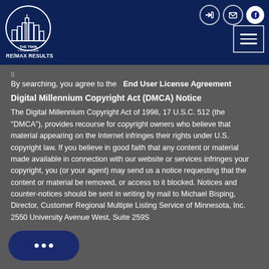[Figure (logo): The Twin Cities Team RE/MAX Results logo — circular emblem with city skyline on dark blue background]
RE/MAX RESULTS — header navigation with icons (sign in, email, Facebook, menu)
By searching, you agree to the  End User License Agreement
Digital Millennium Copyright Act (DMCA) Notice
The Digital Millennium Copyright Act of 1998, 17 U.S.C. 512 (the "DMCA"), provides recourse for copyright owners who believe that material appearing on the Internet infringes their rights under U.S. copyright law. If you believe in good faith that any content or material made available in connection with our website or services infringes your copyright, you (or your agent) may send us a notice requesting that the content or material be removed, or access to it blocked. Notices and counter-notices should be sent in writing by mail to Michael Bisping, Director, Customer Regional Multiple Listing Service of Minnesota, Inc. 2550 University Avenue West, Suite 259S